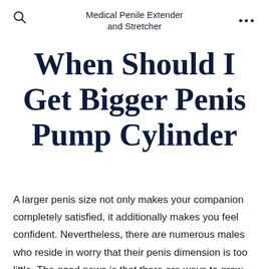Medical Penile Extender and Stretcher
When Should I Get Bigger Penis Pump Cylinder
A larger penis size not only makes your companion completely satisfied, it additionally makes you feel confident. Nevertheless, there are numerous males who reside in worry that their penis dimension is too little. The good news is that there are ways to grow